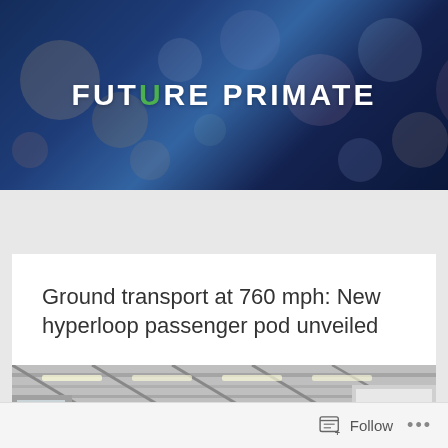FUTURE PRIMATE
Ground transport at 760 mph: New hyperloop passenger pod unveiled
[Figure (photo): Interior of an industrial or warehouse facility with concrete ceiling, metal roof trusses, and overhead lighting]
Follow ...